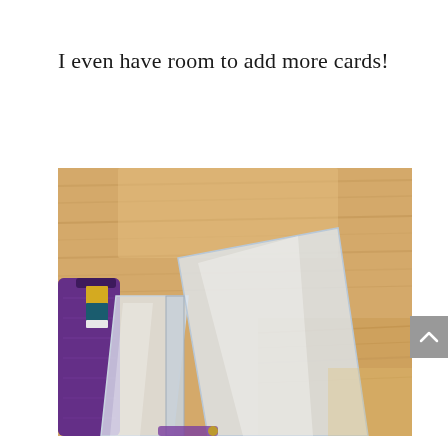I even have room to add more cards!
[Figure (photo): Close-up photograph of an open card holder/wallet with clear plastic sleeves, showing empty slots with room for more cards. A purple zipper wallet is visible on the left side. The wallet is placed on a light wood-grain surface desk.]